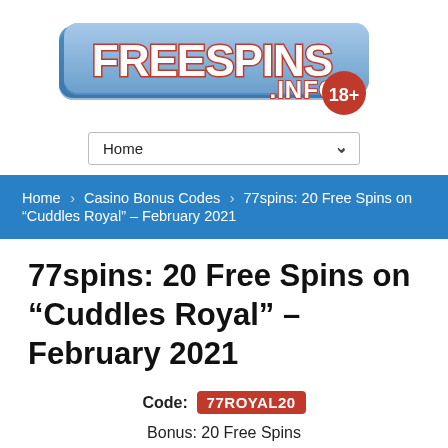[Figure (logo): FreeSpins.info logo with 3D blue/white block letters and a red circle with 18+ text]
Home ∨
Home > Casino Bonus Codes > 77spins: 20 Free Spins on "Cuddles Royal" – February 2021
77spins: 20 Free Spins on "Cuddles Royal" – February 2021
Code: 77ROYAL20
Bonus: 20 Free Spins
Type: no deposit bonus